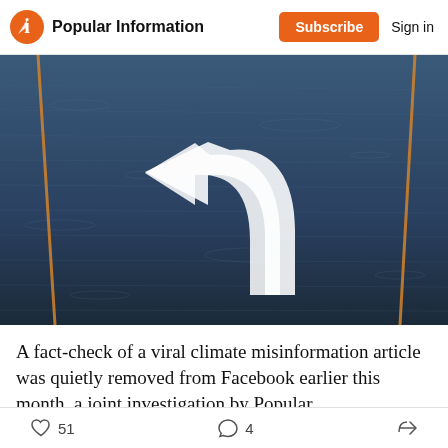Popular Information | Subscribe | Sign in
[Figure (photo): Flooded road with a left-turn arrow road marking visible under the water, with orange lane dividers visible on both sides]
A fact-check of a viral climate misinformation article was quietly removed from Facebook earlier this month, a joint investigation by Popular
51 likes  4 comments  share